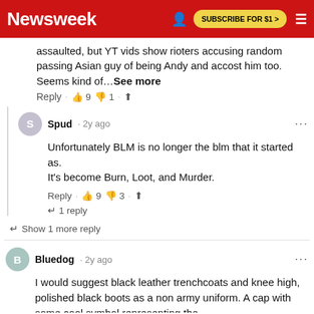Newsweek | SUBSCRIBE FOR $1 >
assaulted, but YT vids show rioters accusing random passing Asian guy of being Andy and accost him too.  Seems kind of…See more
Reply · 👍 9  👎 1 · ⬆
Spud · 2y ago
Unfortunately BLM is no longer the blm that it started as.
It's become Burn, Loot, and Murder.
Reply · 👍 9  👎 3 · ⬆
↩ 1 reply
↩ Show 1 more reply
Bluedog · 2y ago
I would suggest black leather trenchcoats and knee high, polished black boots as a non army uniform. A cap with some cool symbol representing the